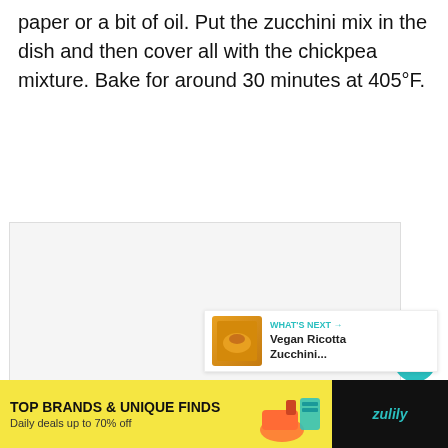paper or a bit of oil. Put the zucchini mix in the dish and then cover all with the chickpea mixture. Bake for around 30 minutes at 405°F.
[Figure (photo): Food photo placeholder showing a baked dish, with navigation dots at the bottom]
WHAT'S NEXT → Vegan Ricotta Zucchini...
TOP BRANDS & UNIQUE FINDS — Daily deals up to 70% off — zulily